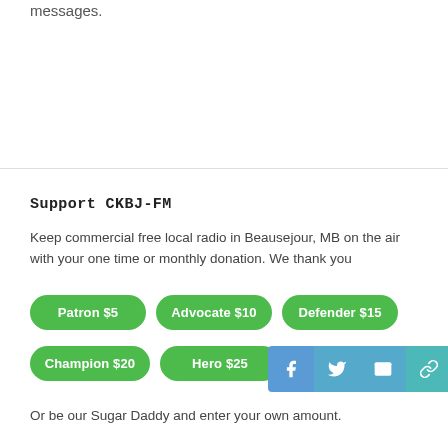messages.
Support CKBJ-FM
Keep commercial free local radio in Beausejour, MB on the air with your one time or monthly donation. We thank you
Patron $5 | Advocate $10 | Defender $15 | Champion $20 | Hero $25 | Angel $30
Or be our Sugar Daddy and enter your own amount.